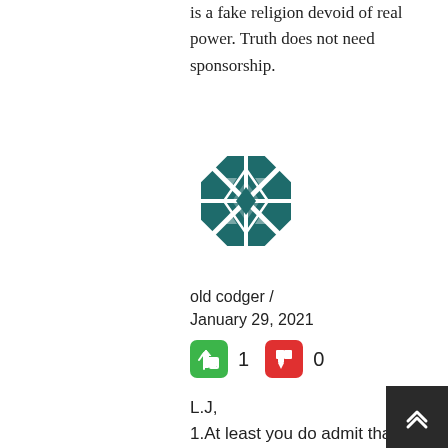is a fake religion devoid of real power. Truth does not need sponsorship.
[Figure (illustration): Avatar icon with geometric diamond/cross pattern in dark teal color]
old codger / January 29, 2021
👍 1  👎 0
L.J,
1.At least you do admit that there are areas which are no-go for minority businesses, even if this fact is not often mentioned. Why is the law not